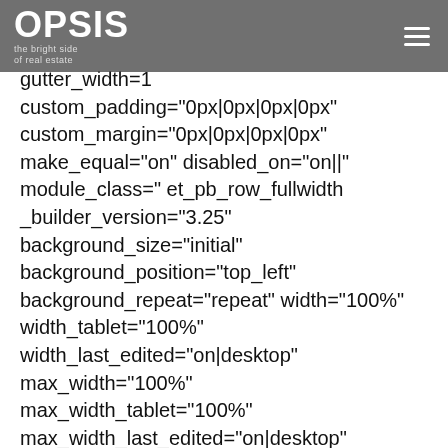OPSIS | the bright side of real estate
gutter_width=1 custom_padding="0px|0px|0px|0px" custom_margin="0px|0px|0px|0px" make_equal="on" disabled_on="on||" module_class=" et_pb_row_fullwidth _builder_version="3.25" background_size="initial" background_position="top_left" background_repeat="repeat" width="100%" width_tablet="100%" width_last_edited="on|desktop" max_width="100%" max_width_tablet="100%" max_width_last_edited="on|desktop" module_alignment="center" make_fullwidth="on" column_structure="1_2,1_2"][et_pb_column